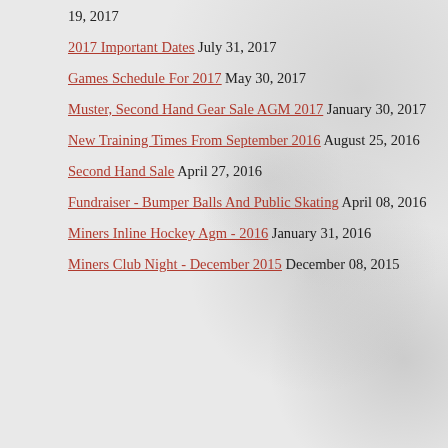19, 2017
2017 Important Dates July 31, 2017
Games Schedule For 2017 May 30, 2017
Muster, Second Hand Gear Sale AGM 2017 January 30, 2017
New Training Times From September 2016 August 25, 2016
Second Hand Sale April 27, 2016
Fundraiser - Bumper Balls And Public Skating April 08, 2016
Miners Inline Hockey Agm - 2016 January 31, 2016
Miners Club Night - December 2015 December 08, 2015